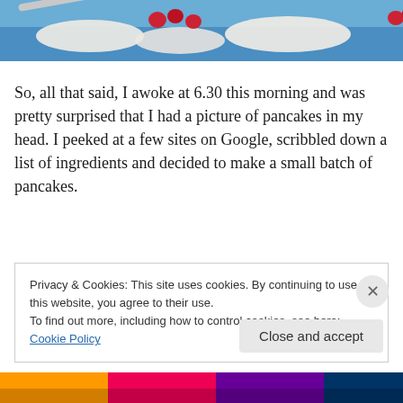[Figure (photo): Top portion of a photo showing a blue background with red berries or cherry-like fruits and what appears to be white cream or food items.]
So, all that said, I awoke at 6.30 this morning and was pretty surprised that I had a picture of pancakes in my head. I peeked at a few sites on Google, scribbled down a list of ingredients and decided to make a small batch of pancakes.
Privacy & Cookies: This site uses cookies. By continuing to use this website, you agree to their use.
To find out more, including how to control cookies, see here: Cookie Policy
Close and accept
[Figure (photo): Bottom colorful strip of a webpage footer.]